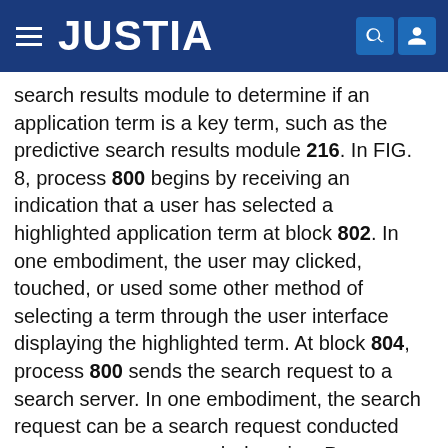JUSTIA
search results module to determine if an application term is a key term, such as the predictive search results module 216. In FIG. 8, process 800 begins by receiving an indication that a user has selected a highlighted application term at block 802. In one embodiment, the user may clicked, touched, or used some other method of selecting a term through the user interface displaying the highlighted term. At block 804, process 800 sends the search request to a search server. In one embodiment, the search request can be a search request conducted over one or more search domains. Process 800 receives the search results at block 806. At block 808, process 800 displays the search results. In one embodiment, process 800 overlays the search results on a user interface as described in FIGS. 4A-B above. In another embodiment, process 800 displays the user interface in a separate window.